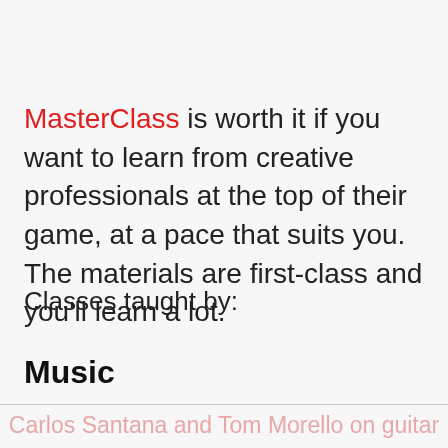MasterClass is worth it if you want to learn from creative professionals at the top of their game, at a pace that suits you. The materials are first-class and you'll learn a lot.
Classes taught by:
Music
Carlos Santana and Tom Morello on guitar